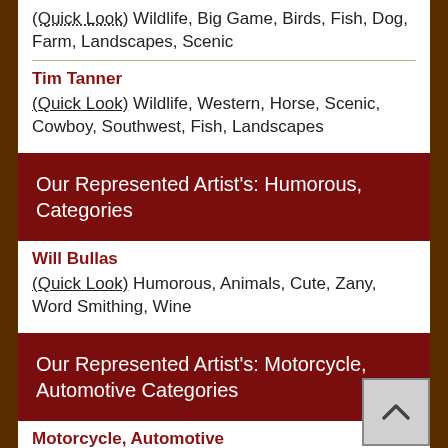(Quick Look) Wildlife, Big Game, Birds, Fish, Dog, Farm, Landscapes, Scenic
Tim Tanner
(Quick Look) Wildlife, Western, Horse, Scenic, Cowboy, Southwest, Fish, Landscapes
Our Represented Artist's: Humorous, Categories
Will Bullas
(Quick Look) Humorous, Animals, Cute, Zany, Word Smithing, Wine
Our Represented Artist's: Motorcycle, Automotive Categories
Motorcycle, Automotive
(Quick Look) Motorcycle, Automotive, Truck, Garage, Pinup, P.O.W.